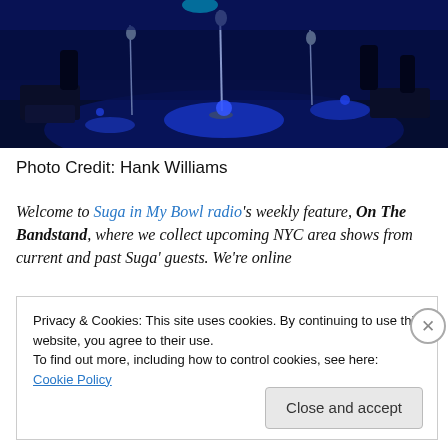[Figure (photo): Dark blue-lit concert stage with microphone stands and stage equipment illuminated in deep blue light]
Photo Credit: Hank Williams
Welcome to Suga in My Bowl radio's weekly feature, On The Bandstand, where we collect upcoming NYC area shows from current and past Suga' guests. We're online
Privacy & Cookies: This site uses cookies. By continuing to use this website, you agree to their use.
To find out more, including how to control cookies, see here: Cookie Policy